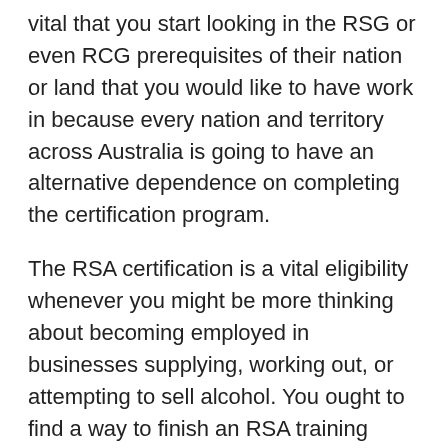vital that you start looking in the RSG or even RCG prerequisites of their nation or land that you would like to have work in because every nation and territory across Australia is going to have an alternative dependence on completing the certification program.
The RSA certification is a vital eligibility whenever you might be more thinking about becoming employed in businesses supplying, working out, or attempting to sell alcohol. You ought to find a way to finish an RSA training curriculum to find out how to eradicate the difficulties related to excess alcohol ingestion. The RSA is only enjoy the RSG or even RCG for the reason that distinctive lands and states may have different conditions.
Before becoming a member of online classes, which usually are cheaper and a whole lot easier, you also have to be aware that some countries are simply accepting